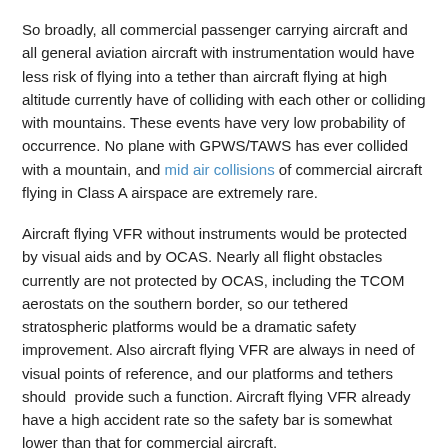So broadly, all commercial passenger carrying aircraft and all general aviation aircraft with instrumentation would have less risk of flying into a tether than aircraft flying at high altitude currently have of colliding with each other or colliding with mountains. These events have very low probability of occurrence. No plane with GPWS/TAWS has ever collided with a mountain, and mid air collisions of commercial aircraft flying in Class A airspace are extremely rare.
Aircraft flying VFR without instruments would be protected by visual aids and by OCAS. Nearly all flight obstacles currently are not protected by OCAS, including the TCOM aerostats on the southern border, so our tethered stratospheric platforms would be a dramatic safety improvement. Also aircraft flying VFR are always in need of visual points of reference, and our platforms and tethers should provide such a function. Aircraft flying VFR already have a high accident rate so the safety bar is somewhat lower than that for commercial aircraft.
The risk from tethers is demonstrably low and not a major impediment to success. The ability to get small amounts of airspace designated as